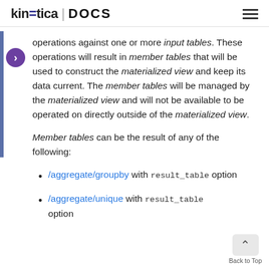kinetica | DOCS
operations against one or more input tables. These operations will result in member tables that will be used to construct the materialized view and keep its data current. The member tables will be managed by the materialized view and will not be available to be operated on directly outside of the materialized view.
Member tables can be the result of any of the following:
/aggregate/groupby with result_table option
/aggregate/unique with result_table option